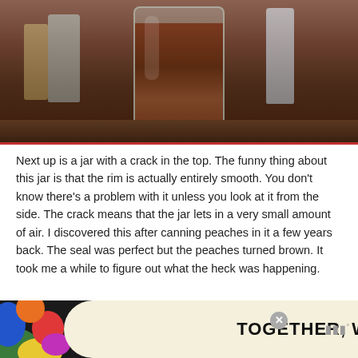[Figure (photo): A glass jar filled with dark reddish-brown dried substance (likely saffron or spice) sitting on a wooden shelf or countertop. Other containers visible in the background.]
Next up is a jar with a crack in the top. The funny thing about this jar is that the rim is actually entirely smooth. You don’t know there’s a problem with it unless you look at it from the side. The crack means that the jar lets in a very small amount of air. I discovered this after canning peaches in it a few years back. The seal was perfect but the peaches turned brown. It took me a while to figure out what the heck was happening.
[Figure (other): Advertisement banner reading 'TOGETHER, WE STAND' with colorful blob shapes on left side against a dark background, with a close button and a logo on the right.]